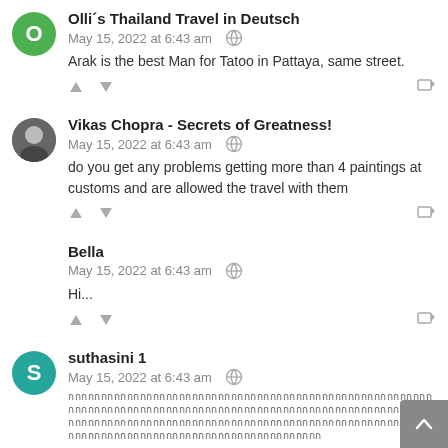Olli´s Thailand Travel in Deutsch
May 15, 2022 at 6:43 am
Arak is the best Man for Tatoo in Pattaya, same street.
Vikas Chopra - Secrets of Greatness!
May 15, 2022 at 6:43 am
do you get any problems getting more than 4 paintings at customs and are allowed the travel with them
Bella
May 15, 2022 at 6:43 am
Hi...
suthasini 1
May 15, 2022 at 6:43 am